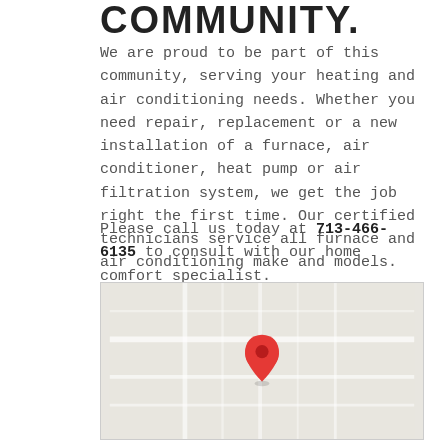COMMUNITY.
We are proud to be part of this community, serving your heating and air conditioning needs. Whether you need repair, replacement or a new installation of a furnace, air conditioner, heat pump or air filtration system, we get the job right the first time. Our certified technicians service all furnace and air conditioning make and models.
Please call us today at 713-466-6135 to consult with our home comfort specialist.
[Figure (map): Google Maps embedded map showing a location pin (red marker) in a light gray street map area.]